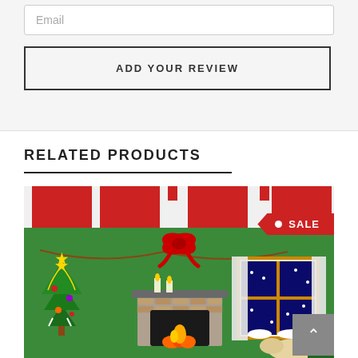Email
ADD YOUR REVIEW
RELATED PRODUCTS
[Figure (photo): Christmas advent calendar product photo showing a festive green felt scene with a Christmas tree, fireplace with candles, red bow garland, and a night window with snow, with red pockets at the top and a SALE badge.]